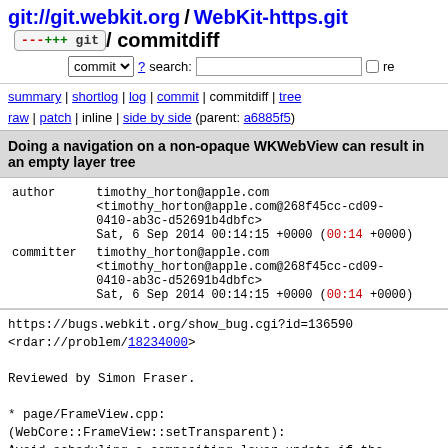git://git.webkit.org / WebKit-https.git / commitdiff
commit search: re
summary | shortlog | log | commit | commitdiff | tree
raw | patch | inline | side by side (parent: a6885f5)
Doing a navigation on a non-opaque WKWebView can result in an empty layer tree
| field | value |
| --- | --- |
| author | timothy_horton@apple.com
<timothy_horton@apple.com@268f45cc-cd09-0410-ab3c-d52691b4dbfc>
Sat, 6 Sep 2014 00:14:15 +0000 (00:14 +0000) |
| committer | timothy_horton@apple.com
<timothy_horton@apple.com@268f45cc-cd09-0410-ab3c-d52691b4dbfc>
Sat, 6 Sep 2014 00:14:15 +0000 (00:14 +0000) |
https://bugs.webkit.org/show_bug.cgi?id=136590
<rdar://problem/18234000>

Reviewed by Simon Fraser.

* page/FrameView.cpp:
(WebCore::FrameView::setTransparent):
Avoid scheduling a compositing layer update if the RenderVie
one associated with this FrameView. This can happen during